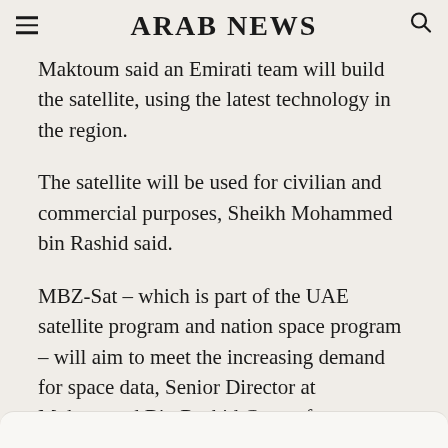ARAB NEWS
Maktoum said an Emirati team will build the satellite, using the latest technology in the region.
The satellite will be used for civilian and commercial purposes, Sheikh Mohammed bin Rashid said.
MBZ-Sat – which is part of the UAE satellite program and nation space program – will aim to meet the increasing demand for space data, Senior Director at Mohammed Bin Rashid Centre for Government Innovation, Amer Al-Sayegh said during a press briefing.